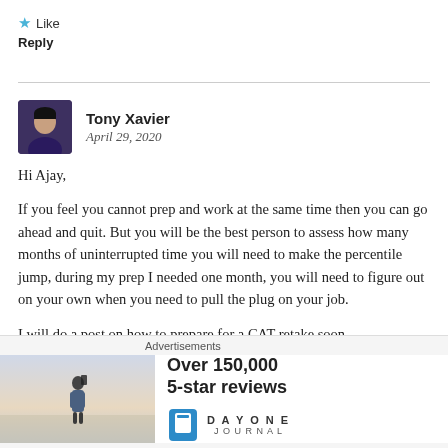★ Like
Reply
Tony Xavier
April 29, 2020
Hi Ajay,

If you feel you cannot prep and work at the same time then you can go ahead and quit. But you will be the best person to assess how many months of uninterrupted time you will need to make the percentile jump, during my prep I needed one month, you will need to figure out on your own when you need to pull the plug on your job.

I will do a post on how to prepare for a CAT retake soon.
[Figure (screenshot): Advertisement banner showing 'Over 150,000 5-star reviews' for Day One Journal app, with a photo of a person and the Day One logo]